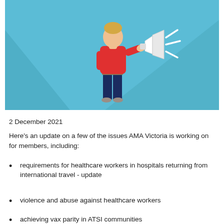[Figure (illustration): Illustration of a person in a red top and dark navy trousers holding a megaphone, shouting, with sound lines radiating from the megaphone. Light blue background with geometric triangular shapes.]
2 December 2021
Here’s an update on a few of the issues AMA Victoria is working on for members, including:
requirements for healthcare workers in hospitals returning from international travel - update
violence and abuse against healthcare workers
achieving vax parity in ATSI communities